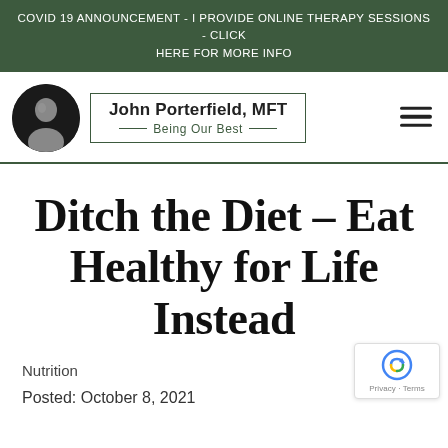COVID 19 ANNOUNCEMENT - I PROVIDE ONLINE THERAPY SESSIONS - CLICK HERE FOR MORE INFO
[Figure (logo): John Porterfield MFT logo with circular headshot photo and brand name 'John Porterfield, MFT' and tagline 'Being Our Best' inside a rectangular border]
Ditch the Diet – Eat Healthy for Life Instead
Nutrition
Posted: October 8, 2021